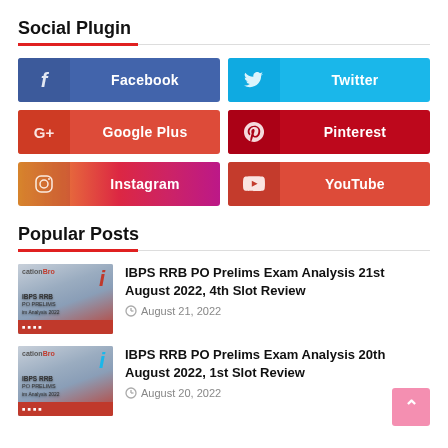Social Plugin
[Figure (infographic): Social media plugin buttons: Facebook, Twitter, Google Plus, Pinterest, Instagram, YouTube in a 2-column grid]
Popular Posts
[Figure (infographic): Thumbnail image for IBPS RRB PO Prelims article]
IBPS RRB PO Prelims Exam Analysis 21st August 2022, 4th Slot Review
August 21, 2022
[Figure (infographic): Thumbnail image for IBPS RRB PO Prelims article]
IBPS RRB PO Prelims Exam Analysis 20th August 2022, 1st Slot Review
August 20, 2022